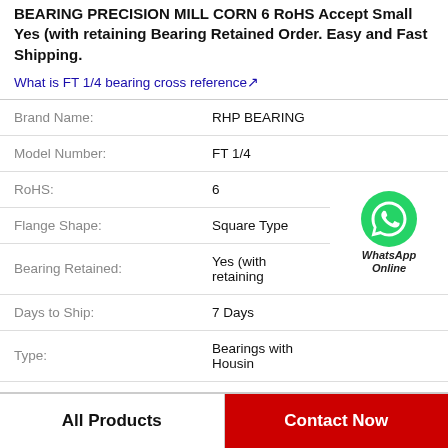BEARING PRECISION MILL CORN 6 RoHS Accept Small Yes (with retaining Bearing Retained Order. Easy and Fast Shipping.
What is FT 1/4 bearing cross reference↗
| Property | Value |
| --- | --- |
| Brand Name: | RHP BEARING |
| Model Number: | FT 1/4 |
| RoHS: | 6 |
| Flange Shape: | Square Type |
| Bearing Retained: | Yes (with retaining |
| Days to Ship: | 7 Days |
| Type: | Bearings with Housin |
[Figure (logo): WhatsApp Online green phone icon with label WhatsApp Online]
All Products
Contact Now